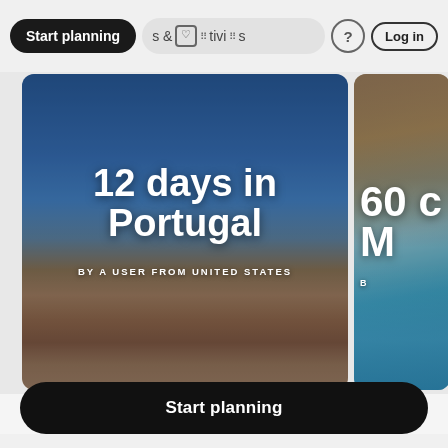Start planning · & Activities · ? · Log in
[Figure (screenshot): Travel itinerary card showing '12 days in Portugal' by a user from United States, with background photo of Lisbon colorful buildings and sea. Partially visible second card showing '60 c' and 'M' text over coastal cliff photo.]
Lisbon · Comporta
Valencia ·
Start planning